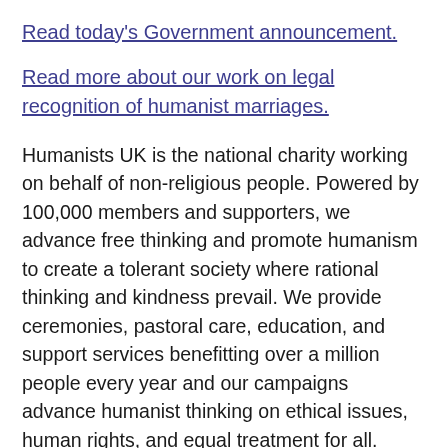Read today's Government announcement.
Read more about our work on legal recognition of humanist marriages.
Humanists UK is the national charity working on behalf of non-religious people. Powered by 100,000 members and supporters, we advance free thinking and promote humanism to create a tolerant society where rational thinking and kindness prevail. We provide ceremonies, pastoral care, education, and support services benefitting over a million people every year and our campaigns advance humanist thinking on ethical issues, human rights, and equal treatment for all.
In 2021, Humanists UK is celebrating its 125th anniversary with a renewed focus on its history. The new website Humanist Heritage is a rich new web resource that uncovers the untold story of humanism in the UK, and some of a much more surprising kind...